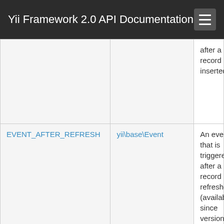Yii Framework 2.0 API Documentation
| Event | Type | Description |
| --- | --- | --- |
|  |  | after a record is inserted. |
| EVENT_AFTER_REFRESH | yii\base\Event | An event that is triggered after a record is refreshed (available since version 2.0.8) |
| EVENT_AFTER_UPDATE | yii\db\AfterSaveEvent | An event that is triggered after a record is |